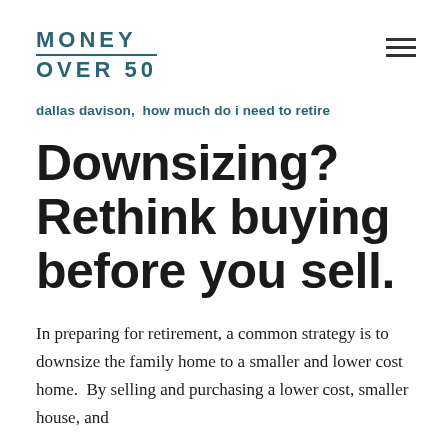MONEY OVER 50
dallas davison,  how much do i need to retire
Downsizing? Rethink buying before you sell.
In preparing for retirement, a common strategy is to downsize the family home to a smaller and lower cost home.  By selling and purchasing a lower cost, smaller house, and